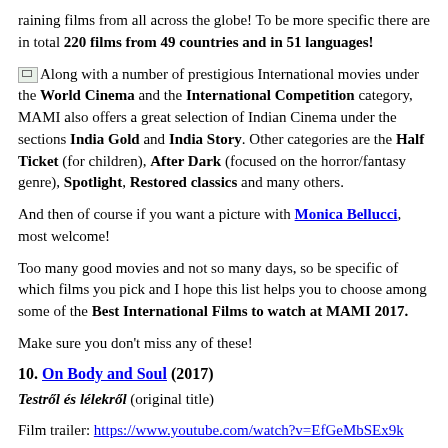raining films from all across the globe! To be more specific there are in total 220 films from 49 countries and in 51 languages!
[image: Best-International-Films-to-watch-at-MAMI-2017] Along with a number of prestigious International movies under the World Cinema and the International Competition category, MAMI also offers a great selection of Indian Cinema under the sections India Gold and India Story. Other categories are the Half Ticket (for children), After Dark (focused on the horror/fantasy genre), Spotlight, Restored classics and many others.
And then of course if you want a picture with Monica Bellucci, most welcome!
Too many good movies and not so many days, so be specific of which films you pick and I hope this list helps you to choose among some of the Best International Films to watch at MAMI 2017.
Make sure you don't miss any of these!
10. On Body and Soul (2017)
Testről és lélekről (original title)
Film trailer: https://www.youtube.com/watch?v=EfGeMbSEx9k